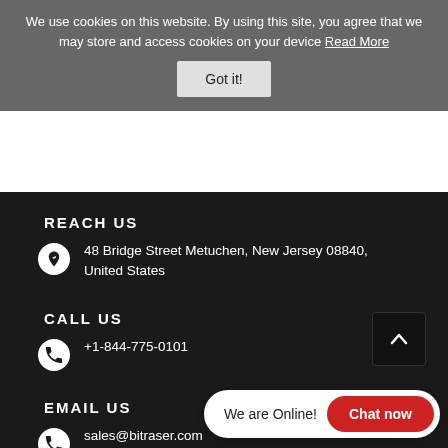We use cookies on this website. By using this site, you agree that we may store and access cookies on your device Read More
Got it!
REACH US
48 Bridge Street Metuchen, New Jersey 08840, United States
CALL US
+1-844-775-0101
EMAIL US
sales@bitraser.com
We are Online!  Chat now